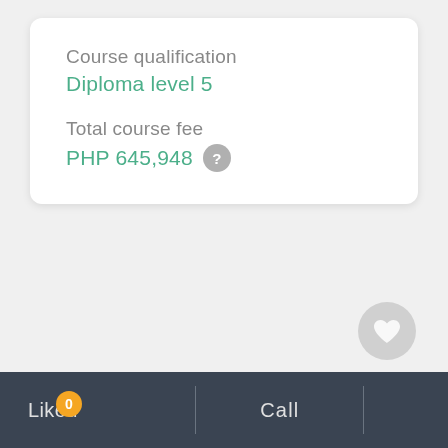Course qualification
Diploma level 5
Total course fee
PHP 645,948
[Figure (other): Heart/favorite button icon — circular grey button with white heart shape]
Liked 0
Call